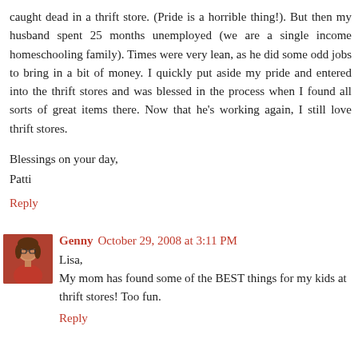caught dead in a thrift store. (Pride is a horrible thing!). But then my husband spent 25 months unemployed (we are a single income homeschooling family). Times were very lean, as he did some odd jobs to bring in a bit of money. I quickly put aside my pride and entered into the thrift stores and was blessed in the process when I found all sorts of great items there. Now that he's working again, I still love thrift stores.
Blessings on your day,
Patti
Reply
Genny  October 29, 2008 at 3:11 PM
Lisa,
My mom has found some of the BEST things for my kids at thrift stores! Too fun.
Reply